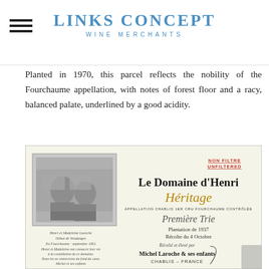Links Concept Wine Merchants
Planted in 1970, this parcel reflects the nobility of the Fourchaume appellation, with notes of forest floor and a racy, balanced palate, underlined by a good acidity.
[Figure (photo): Wine bottle label for Le Domaine d'Henri Héritage, Appellation Chablis 1er Cru Fourchaume Contrôlée, Première Trie, Plantation de 1937, Récolte du 4 Octobre, Michel Laroche & ses enfants, Chablis - France. Label features a vintage black and white photo of Henri et Madeleine Laroche. Marked NON FILTRE / UNFILTERED in red.]